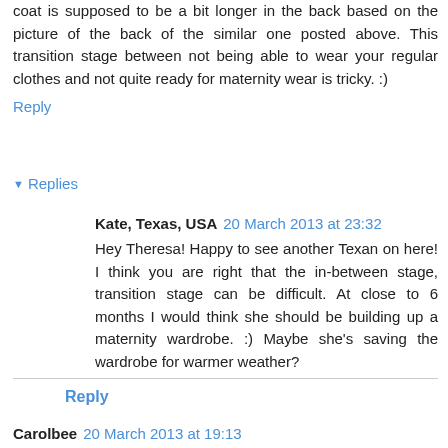coat is supposed to be a bit longer in the back based on the picture of the back of the similar one posted above. This transition stage between not being able to wear your regular clothes and not quite ready for maternity wear is tricky. :)
Reply
▾ Replies
Kate, Texas, USA  20 March 2013 at 23:32
Hey Theresa! Happy to see another Texan on here! I think you are right that the in-between stage, transition stage can be difficult. At close to 6 months I would think she should be building up a maternity wardrobe. :) Maybe she's saving the wardrobe for warmer weather?
Reply
Carolbee  20 March 2013 at 19:13